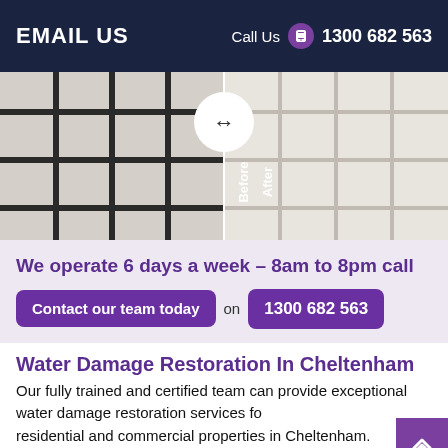EMAIL US   Call Us  1300 682 563
[Figure (photo): Before and after comparison of tile grout cleaning. Left side (Before) shows dark, dirty grout between white tiles. Right side (After) shows clean, white grout between tiles. A circular arrow icon in the center allows sliding between the two views.]
We operate 6 days a week – 8am to 8pm call Contact our team today on 1300 682 563
Water Damage Restoration In Cheltenham
Our fully trained and certified team can provide exceptional water damage restoration services for residential and commercial properties in Cheltenham. We're capable of working around the clock to save